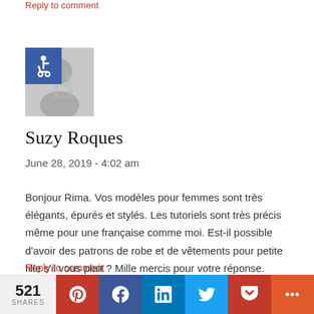Reply to comment
[Figure (illustration): User avatar placeholder (grey silhouette) with blue accessibility icon badge in top-left corner]
Suzy Roques
June 28, 2019 - 4:02 am
Bonjour Rima. Vos modèles pour femmes sont très élégants, épurés et stylés. Les tutoriels sont très précis même pour une française comme moi. Est-il possible d'avoir des patrons de robe et de vêtements pour petite fille s'il vous plait ? Mille mercis pour votre réponse. Suzy
Reply to comment
[Figure (infographic): Social share bar at bottom: 521 SHARES | Pinterest (red) | Facebook (blue) | LinkedIn (blue) | Twitter (light blue) | Pocket (red) | More (orange)]